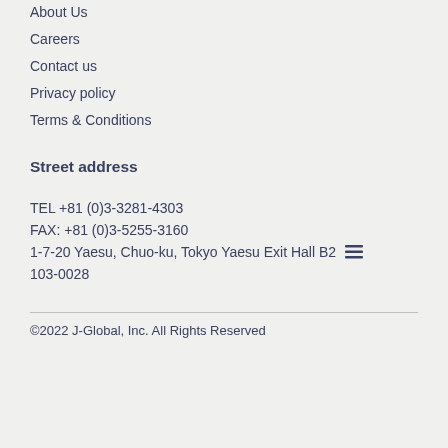About Us
Careers
Contact us
Privacy policy
Terms & Conditions
Street address
TEL +81 (0)3-3281-4303
FAX: +81 (0)3-5255-3160
1-7-20 Yaesu, Chuo-ku, Tokyo Yaesu Exit Hall B2
103-0028
©2022 J-Global, Inc. All Rights Reserved